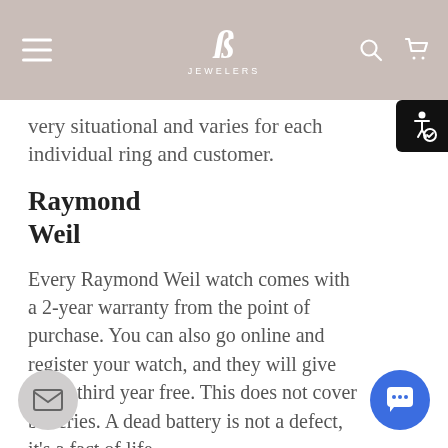B JEWELERS [navigation header with logo, hamburger menu, search and cart icons]
very situational and varies for each individual ring and customer.
Raymond Weil
Every Raymond Weil watch comes with a 2-year warranty from the point of purchase. You can also go online and register your watch, and they will give you a third year free. This does not cover batteries. A dead battery is not a defect, it's a fact of life.
Victorinox/Swiss Army
If bought from an authorized retailer (which we are). Victorinox watches come